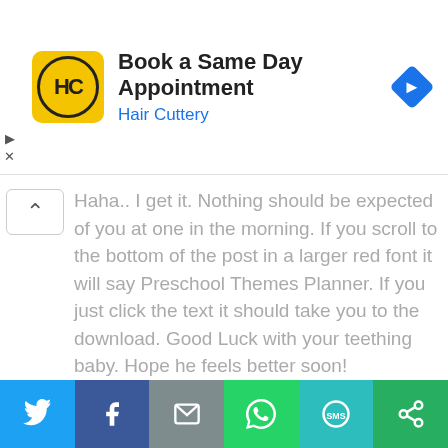[Figure (screenshot): Advertisement banner for Hair Cuttery: yellow square logo with HC monogram, title 'Book a Same Day Appointment', subtitle 'Hair Cuttery' in blue, blue diamond navigation arrow icon on right, ad controls (play/close) on far left]
Haha.. I get it. Nothing should be expected of you at one in the morning. If you scroll to the bottom of the post in a larger red font it will say Preschool Themes Planner. If you just click the text it should take you to the download. Good Luck with your teething baby. Hope he feels better soon!
Reply
[Figure (screenshot): Social share bar with six buttons: Twitter (light blue), Facebook (dark blue), Email/envelope (gray), WhatsApp (green), SMS (teal), More/share (dark green)]